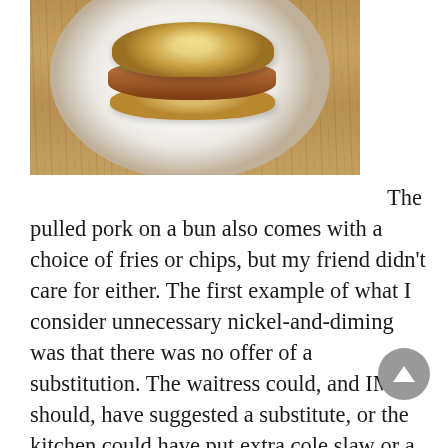[Figure (photo): A pulled pork sandwich on a bun served on a white plate, on a wooden table surface. The sandwich is partially visible from the top of the frame.]
The pulled pork on a bun also comes with a choice of fries or chips, but my friend didn't care for either. The first example of what I consider unnecessary nickel-and-diming was that there was no offer of a substitution. The waitress could, and IMHO should, have suggested a substitute, or the kitchen could have put extra cole slaw or a bit of lettuce and tomato on the plate.

I ordered the beet salad (spinach, sliced beets, orange segments, sliced red onion and champagne vinaigrette plus goat cheese, a $2 extra). That